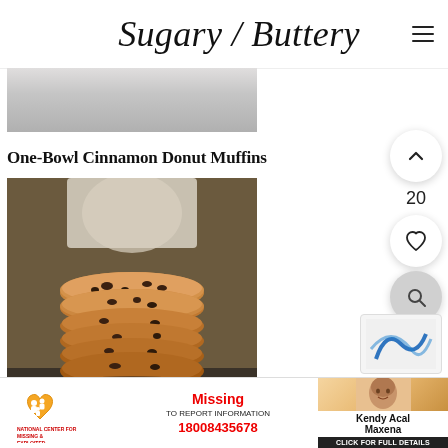Sugary / Buttery
[Figure (photo): Partial photo of baked goods, cropped at top]
One-Bowl Cinnamon Donut Muffins
[Figure (photo): Stack of chocolate chip cookies on a dark surface with a white cup in the background]
[Figure (infographic): Missing person advertisement banner - National Center for Missing & Exploited. Missing: Kendy Acal Maxena. To report information: 18008435678. Click for full details.]